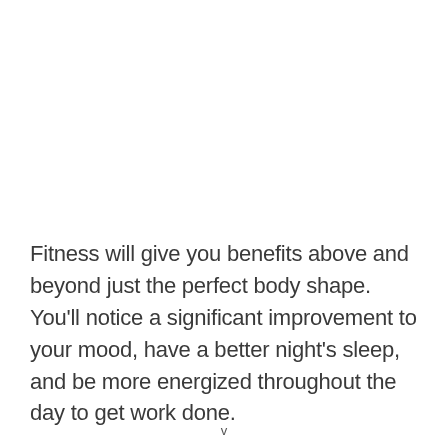Fitness will give you benefits above and beyond just the perfect body shape. You'll notice a significant improvement to your mood, have a better night's sleep, and be more energized throughout the day to get work done.
v